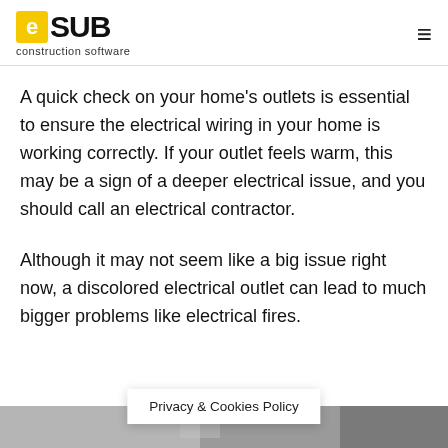eSUB construction software
A quick check on your home's outlets is essential to ensure the electrical wiring in your home is working correctly. If your outlet feels warm, this may be a sign of a deeper electrical issue, and you should call an electrical contractor.
Although it may not seem like a big issue right now, a discolored electrical outlet can lead to much bigger problems like electrical fires.
[Figure (photo): Bottom strip showing a photo partially visible at the bottom of the page]
Privacy & Cookies Policy